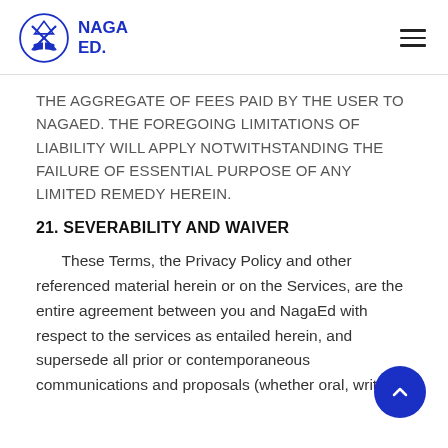NAGA ED.
THE AGGREGATE OF FEES PAID BY THE USER TO NAGAED. THE FOREGOING LIMITATIONS OF LIABILITY WILL APPLY NOTWITHSTANDING THE FAILURE OF ESSENTIAL PURPOSE OF ANY LIMITED REMEDY HEREIN.
21. SEVERABILITY AND WAIVER
These Terms, the Privacy Policy and other referenced material herein or on the Services, are the entire agreement between you and NagaEd with respect to the services as entailed herein, and supersede all prior or contemporaneous communications and proposals (whether oral, written